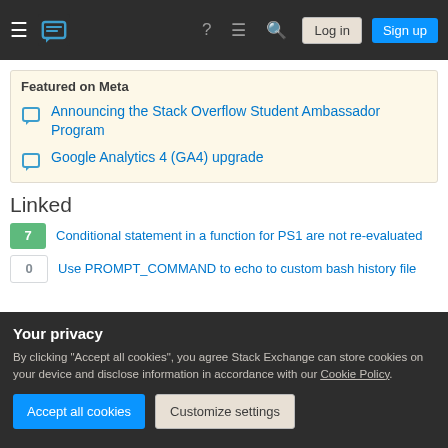Stack Overflow navigation — Log in | Sign up
Featured on Meta
Announcing the Stack Overflow Student Ambassador Program
Google Analytics 4 (GA4) upgrade
Linked
7 — Conditional statement in a function for PS1 are not re-evaluated
0 — Use PROMPT_COMMAND to echo to custom bash history file
Your privacy
By clicking "Accept all cookies", you agree Stack Exchange can store cookies on your device and disclose information in accordance with our Cookie Policy.
Accept all cookies | Customize settings
directory (both hidden and regular entries)